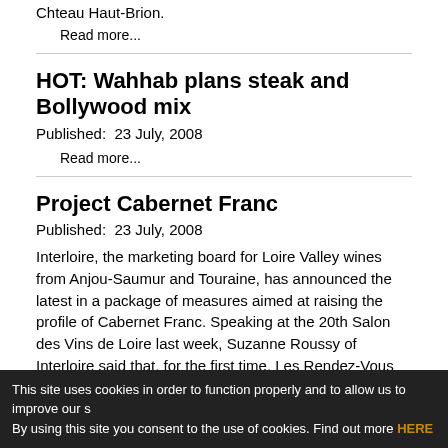Chteau Haut-Brion.
Read more...
HOT: Wahhab plans steak and Bollywood mix
Published:  23 July, 2008
Read more...
Project Cabernet Franc
Published:  23 July, 2008
Interloire, the marketing board for Loire Valley wines from Anjou-Saumur and Touraine, has announced the latest in a package of measures aimed at raising the profile of Cabernet Franc. Speaking at the 20th Salon des Vins de Loire last week, Suzanne Roussy of Interloire said that, for the first time, Les Rendez-Vous de Fontevraud 2006 will broaden its scope to encompass a sensorial evaluation of Cabernet Franc
This site uses cookies in order to function properly and to allow us to improve our s By using this site you consent to the use of cookies. Find out more HERE